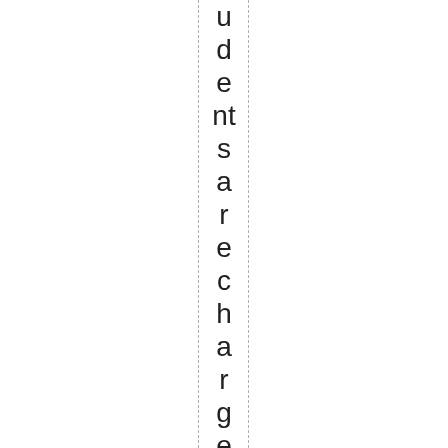udents are recharged with murderin